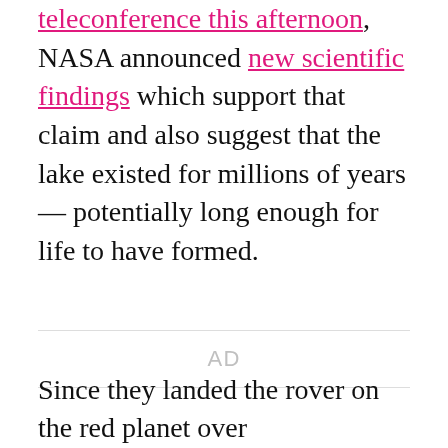teleconference this afternoon, NASA announced new scientific findings which support that claim and also suggest that the lake existed for millions of years — potentially long enough for life to have formed.
[Figure (other): Advertisement placeholder area with 'AD' label centered]
Since they landed the rover on the red planet over